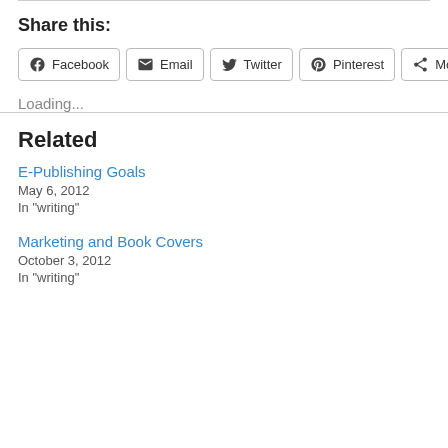Share this:
[Figure (other): Social share buttons: Facebook, Email, Twitter, Pinterest, More]
Loading...
Related
E-Publishing Goals
May 6, 2012
In "writing"
Marketing and Book Covers
October 3, 2012
In "writing"